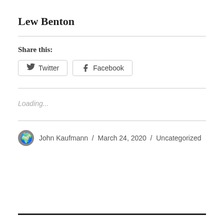Lew Benton
Share this:
Twitter  Facebook
Loading...
John Kaufmann / March 24, 2020 / Uncategorized